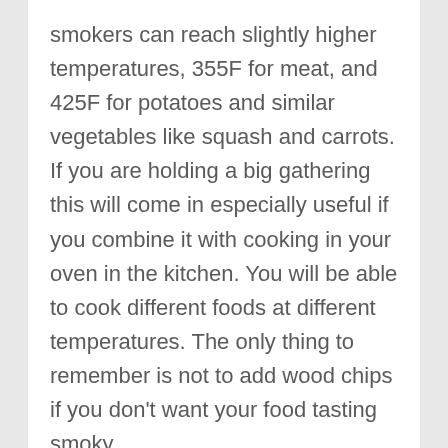smokers can reach slightly higher temperatures, 355F for meat, and 425F for potatoes and similar vegetables like squash and carrots. If you are holding a big gathering this will come in especially useful if you combine it with cooking in your oven in the kitchen. You will be able to cook different foods at different temperatures. The only thing to remember is not to add wood chips if you don't want your food tasting smoky.